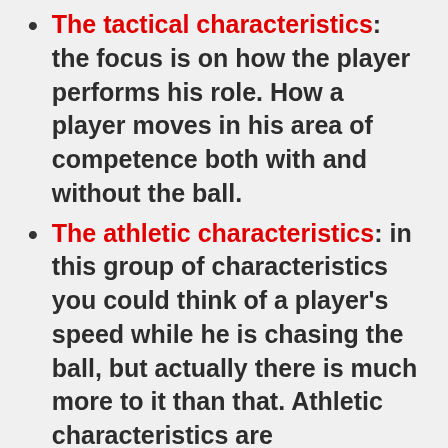The tactical characteristics: the focus is on how the player performs his role. How a player moves in his area of competence both with and without the ball.
The athletic characteristics: in this group of characteristics you could think of a player's speed while he is chasing the ball, but actually there is much more to it than that. Athletic characteristics are fundamental to understand whether or not a player is physically intact, whether he can